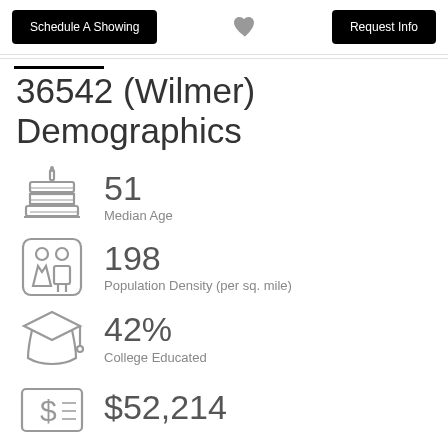Schedule A Showing | [heart] | Request Info
36542 (Wilmer) Demographics
51 Median Age
198 Population Density (per sq. mile)
42% College Educated
$52,214